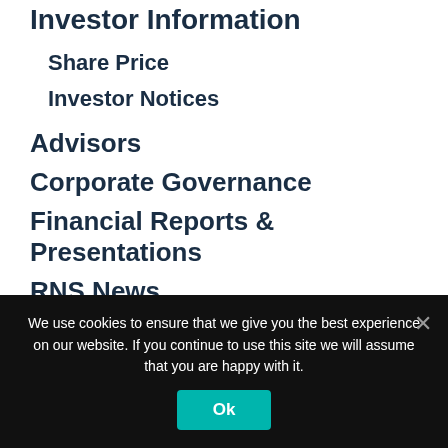Investor Information
Share Price
Investor Notices
Advisors
Corporate Governance
Financial Reports & Presentations
RNS News
INVESTOR ENQUIRY?
We use cookies to ensure that we give you the best experience on our website. If you continue to use this site we will assume that you are happy with it.